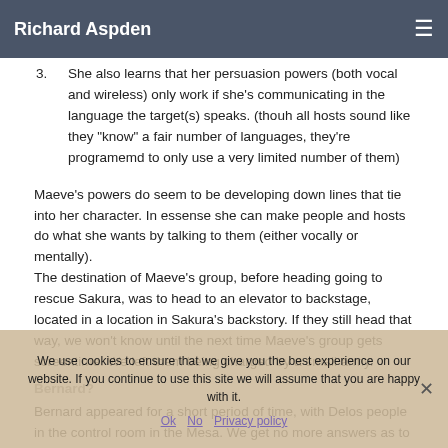Richard Aspden
3. She also learns that her persuasion powers (both vocal and wireless) only work if she's communicating in the language the target(s) speaks. (thouh all hosts sound like they "know" a fair number of languages, they're programemd to only use a very limited number of them)
Maeve's powers do seem to be developing down lines that tie into her character. In essense she can make people and hosts do what she wants by talking to them (either vocally or mentally). The destination of Maeve's group, before heading going to rescue Sakura, was to head to an elevator to backstage, located in a location in Sakura's backstory. If they still head that way, we won't know until the next time Maeve's group gets screentime. We left them being charged by a small army.
Bernard?
Bernard appeared for a short period of time, with Delos people in the control room in the Mesa. We get no more answers as to
We use cookies to ensure that we give you the best experience on our website. If you continue to use this site we will assume that you are happy with it.